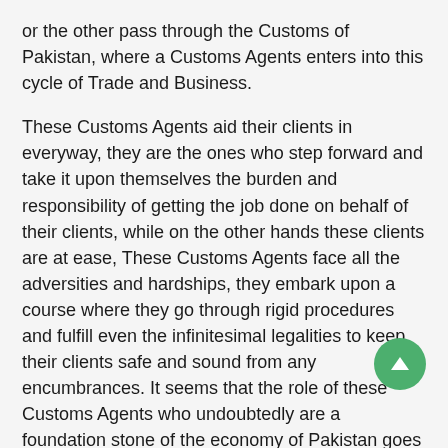or the other pass through the Customs of Pakistan, where a Customs Agents enters into this cycle of Trade and Business.
These Customs Agents aid their clients in everyway, they are the ones who step forward and take it upon themselves the burden and responsibility of getting the job done on behalf of their clients, while on the other hands these clients are at ease, These Customs Agents face all the adversities and hardships, they embark upon a course where they go through rigid procedures and fulfill even the infinitesimal legalities to keep their clients safe and sound from any encumbrances. It seems that the role of these Customs Agents who undoubtedly are a foundation stone of the economy of Pakistan goes absolutely unseen and is never appreciated, where as their contribution the exchequer and economy is invaluable, Not only are their efforts unnoticed